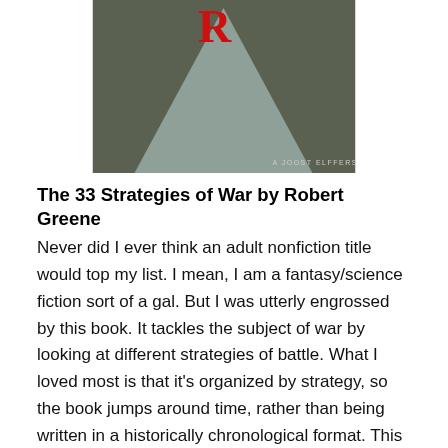[Figure (illustration): Book cover of 'The 33 Strategies of War' by Robert Greene — dark olive/grey background with a large light grey downward-pointing triangle and a red letter 'R' at the top. Text at bottom reads 'A Joost Elffers Book'.]
The 33 Strategies of War by Robert Greene
Never did I ever think an adult nonfiction title would top my list. I mean, I am a fantasy/science fiction sort of a gal. But I was utterly engrossed by this book. It tackles the subject of war by looking at different strategies of battle. What I loved most is that it's organized by strategy, so the book jumps around time, rather than being written in a historically chronological format. This keeps the stories